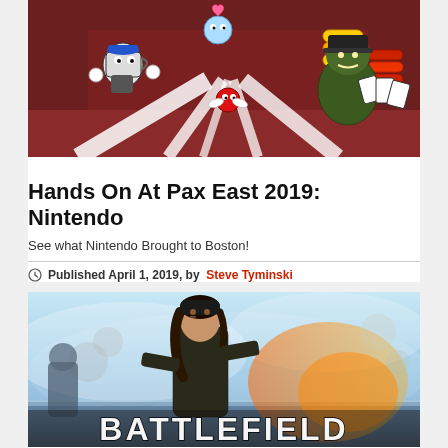[Figure (illustration): Cuphead game screenshot showing cartoon characters in a boss fight scene with colorful characters and beam attacks]
Hands On At Pax East 2019: Nintendo
See what Nintendo Brought to Boston!
Published April 1, 2019, by Steve Tyminski
[Figure (illustration): Battlefield V game promotional image showing a female soldier in a snowy wartime setting with large BATTLEFIELD text at the bottom]